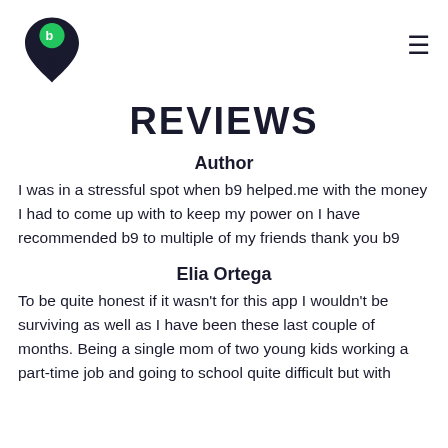[Figure (logo): b9 app logo — dark navy teardrop/pin shape with a green circle containing letter b at top, and a stylized 9 shape]
REVIEWS
Author
I was in a stressful spot when b9 helped.me with the money I had to come up with to keep my power on I have recommended b9 to multiple of my friends thank you b9
Elia Ortega
To be quite honest if it wasn't for this app I wouldn't be surviving as well as I have been these last couple of months. Being a single mom of two young kids working a part-time job and going to school quite difficult but with